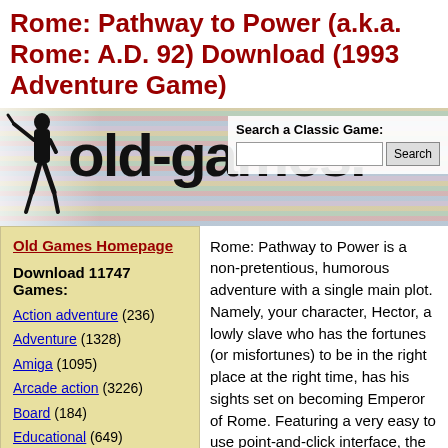Rome: Pathway to Power (a.k.a. Rome: A.D. 92) Download (1993 Adventure Game)
[Figure (logo): Old-games website banner with silhouette figure and 'old-games.' logo text, search box on right with label 'Search a Classic Game:' and Search button]
Old Games Homepage
Download 11747 Games:
Action adventure (236)
Adventure (1328)
Amiga (1095)
Arcade action (3226)
Board (184)
Educational (649)
Rome: Pathway to Power is a non-pretentious, humorous adventure with a single main plot. Namely, your character, Hector, a lowly slave who has the fortunes (or misfortunes) to be in the right place at the right time, has his sights set on becoming Emperor of Rome. Featuring a very easy to use point-and-click interface, the game contains a good number of puzzles to